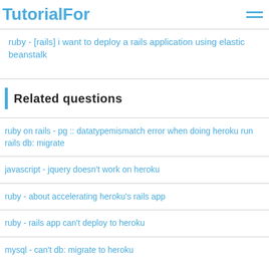TutorialFor
ruby - [rails] i want to deploy a rails application using elastic beanstalk
Related questions
ruby on rails - pg :: datatypemismatch error when doing heroku run rails db: migrate
javascript - jquery doesn't work on heroku
ruby - about accelerating heroku's rails app
ruby - rails app can't deploy to heroku
mysql - can't db: migrate to heroku